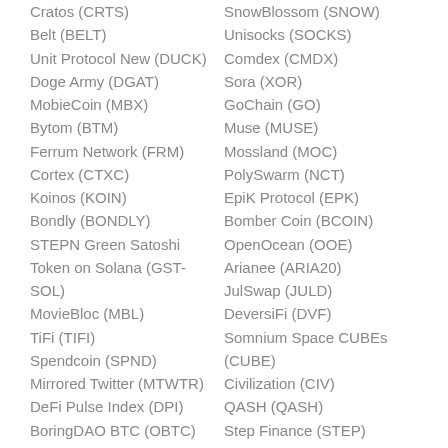Cratos (CRTS)
Belt (BELT)
Unit Protocol New (DUCK)
Doge Army (DGAT)
MobieCoin (MBX)
Bytom (BTM)
Ferrum Network (FRM)
Cortex (CTXC)
Koinos (KOIN)
Bondly (BONDLY)
STEPN Green Satoshi Token on Solana (GST-SOL)
MovieBloc (MBL)
TiFi (TIFI)
Spendcoin (SPND)
Mirrored Twitter (MTWTR)
DeFi Pulse Index (DPI)
BoringDAO BTC (OBTC)
SnowBlossom (SNOW)
Unisocks (SOCKS)
Comdex (CMDX)
Sora (XOR)
GoChain (GO)
Muse (MUSE)
Mossland (MOC)
PolySwarm (NCT)
EpiK Protocol (EPK)
Bomber Coin (BCOIN)
OpenOcean (OOE)
Arianee (ARIA20)
JulSwap (JULD)
DeversiFi (DVF)
Somnium Space CUBEs (CUBE)
Civilization (CIV)
QASH (QASH)
Step Finance (STEP)